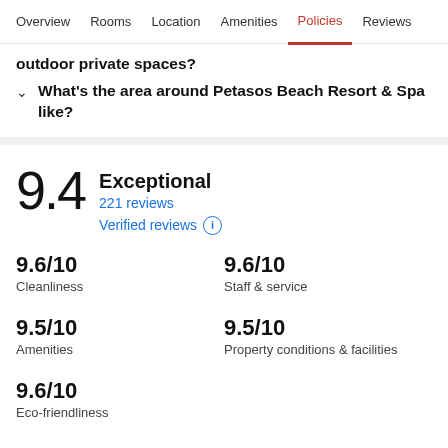Overview  Rooms  Location  Amenities  Policies  Reviews
outdoor private spaces?
What's the area around Petasos Beach Resort & Spa like?
9.4  Exceptional  221 reviews  Verified reviews
9.6/10 Cleanliness
9.6/10 Staff & service
9.5/10 Amenities
9.5/10 Property conditions & facilities
9.6/10 Eco-friendliness